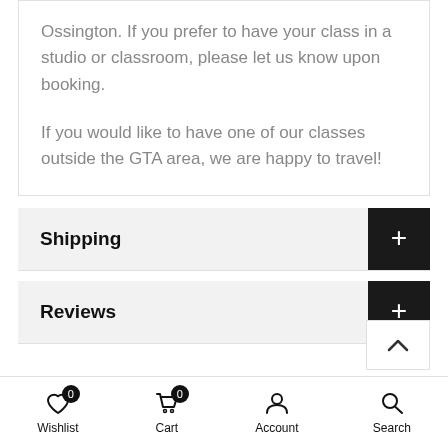Ossington. If you prefer to have your class in a studio or classroom, please let us know upon booking.
If you would like to have one of our classes outside the GTA area, we are happy to travel!
Shipping
Reviews
Wishlist 0  Cart 0  Account  Search